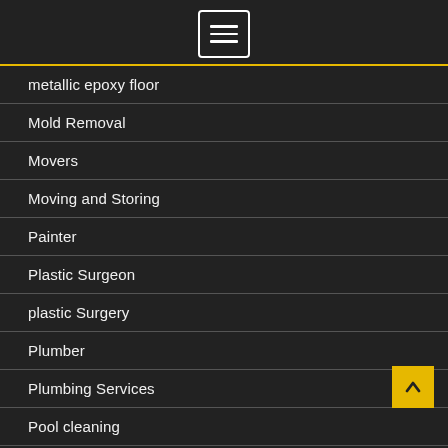[Figure (other): Navigation hamburger menu button icon in a rounded rectangle border]
metallic epoxy floor
Mold Removal
Movers
Moving and Storing
Painter
Plastic Surgeon
plastic Surgery
Plumber
Plumbing Services
Pool cleaning
Preschool